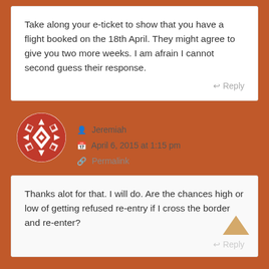Take along your e-ticket to show that you have a flight booked on the 18th April. They might agree to give you two more weeks. I am afrain I cannot second guess their response.
↩ Reply
[Figure (illustration): Circular avatar with red and white geometric/tribal pattern]
Jeremiah
April 6, 2015 at 1:15 pm
Permalink
Thanks alot for that. I will do. Are the chances high or low of getting refused re-entry if I cross the border and re-enter?
↩ Reply